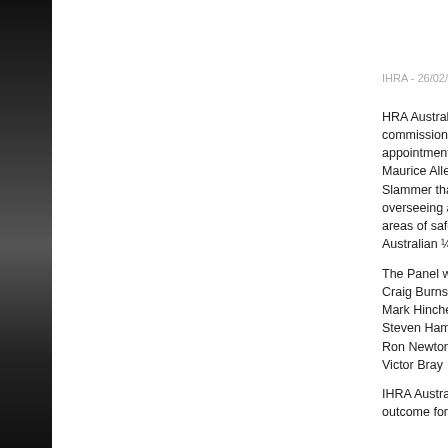IHRA - 26/02/2019
HRA Australia commissioned appointment of a Maurice Allen II Slammer that w overseeing area areas of safety Australian ¼ Mi
The Panel will c Craig Burns Mark Hinchelwo Steven Ham Ron Newton Victor Bray
IHRA Australia outcome for the